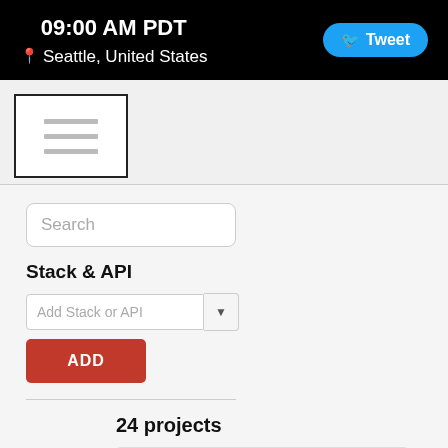09:00 AM PDT
📍 Seattle, United States
[Figure (screenshot): Menu hamburger icon inside a bordered box]
Search
Stack & API
Add Stack or API
ADD
24 projects